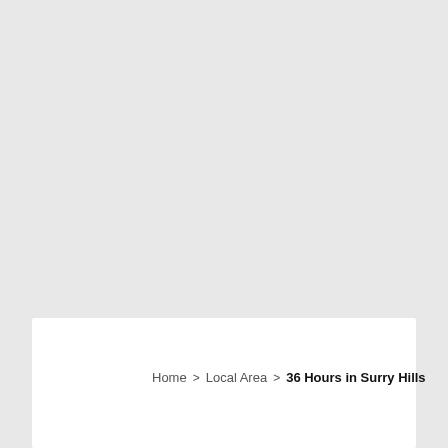Home > Local Area > 36 Hours in Surry Hills